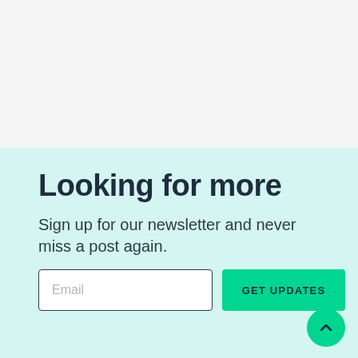Looking for more
Sign up for our newsletter and never miss a post again.
[Figure (screenshot): Email input field with placeholder text 'Email' and a green 'GET UPDATES' button]